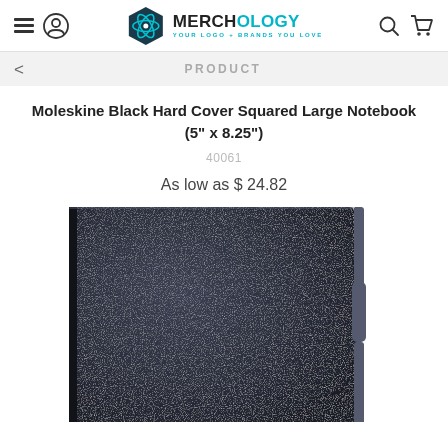[Figure (logo): Merchology logo with hexagon atom icon, text MERCHOLOGY in bold dark with OLOGY portion in teal, tagline YOUR LOGO + BRANDS YOU LOVE]
PRODUCT
Moleskine Black Hard Cover Squared Large Notebook (5" x 8.25")
40061
As low as $ 24.82
[Figure (photo): Close-up photo of a dark navy/black Moleskine hard cover notebook with elastic band closure on the right side, textured cover surface visible]